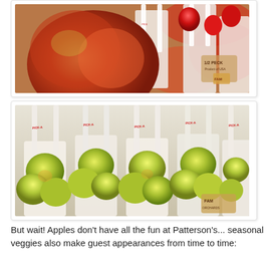[Figure (photo): Close-up photo of red apples and strawberries in small white paper bags with printed ribbon handles, arranged together on a surface.]
[Figure (photo): Close-up photo of green/yellow apples in small white paper bags with printed ribbon handles, multiple bags arranged in rows.]
But wait! Apples don't have all the fun at Patterson's... seasonal veggies also make guest appearances from time to time: